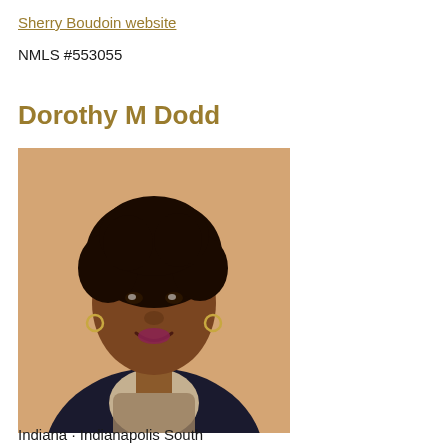Sherry Boudoin website
NMLS #553055
Dorothy M Dodd
[Figure (photo): Professional headshot of Dorothy M Dodd, a woman wearing a black blazer with a patterned scarf, smiling, against a beige/tan background.]
Indiana · Indianapolis South